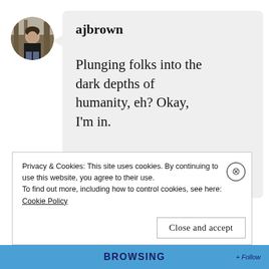[Figure (photo): Circular avatar photo of a person standing outdoors, wearing a dark hoodie, with trees in the background]
ajbrown
Plunging folks into the dark depths of humanity, eh? Okay, I'm in.
Privacy & Cookies: This site uses cookies. By continuing to use this website, you agree to their use.
To find out more, including how to control cookies, see here:
Cookie Policy
Close and accept